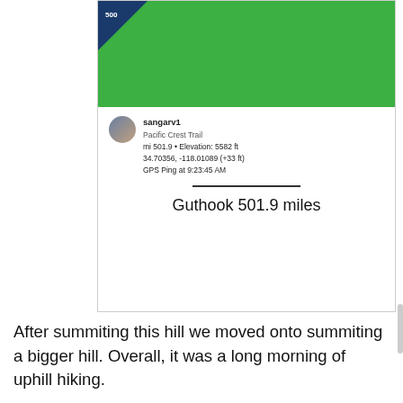[Figure (screenshot): Mobile app screenshot showing a GPS tracking app (Guthook) with a green elevation chart, user profile 'sangarv1', Pacific Crest Trail data showing mi 501.9, Elevation 5582 ft, coordinates 34.70356, -118.01089 (+33 ft), GPS Ping at 9:23:45 AM, with caption 'Guthook 501.9 miles']
After summiting this hill we moved onto summiting a bigger hill. Overall, it was a long morning of uphill hiking.
We agreed to stop for lunch at the summit. Unfortunately the bees were keen to eat our lunch too, so our break was short. We made it back to the van in record time.
Looking ahead at the coming weeks weather forecast I opted to push on and meet up with Noelle 7 miles further down the road. We're about to enter a high temp section of the desert so I'm trying to coordinate